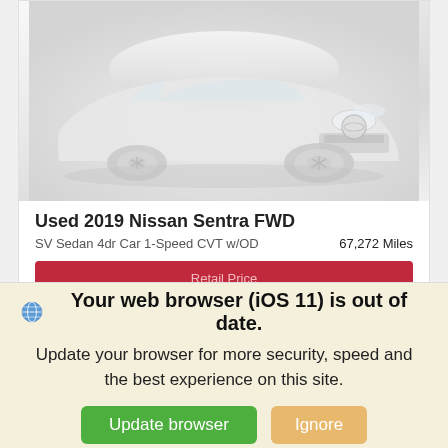[Figure (photo): White Nissan Sentra car photographed from front-quarter angle, faded/washed-out appearance on light background]
Used 2019 Nissan Sentra FWD
SV Sedan 4dr Car 1-Speed CVT w/OD	67,272 Miles
Retail Price
$19,294
Your web browser (iOS 11) is out of date.
Update your browser for more security, speed and the best experience on this site.
Update browser
Ignore